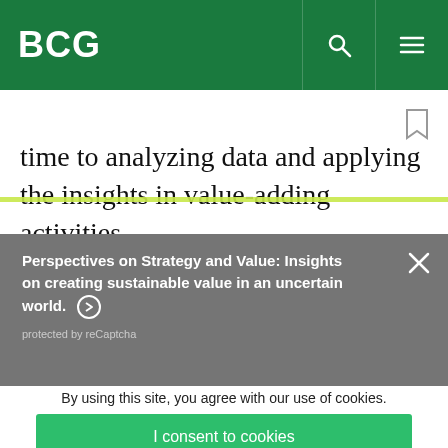BCG
time to analyzing data and applying the insights in value-adding activities.
Perspectives on Strategy and Value: Insights on creating sustainable value in an uncertain world. →
protected by reCaptcha
By using this site, you agree with our use of cookies.
I consent to cookies
Want to know more?
Read our Cookie Policy